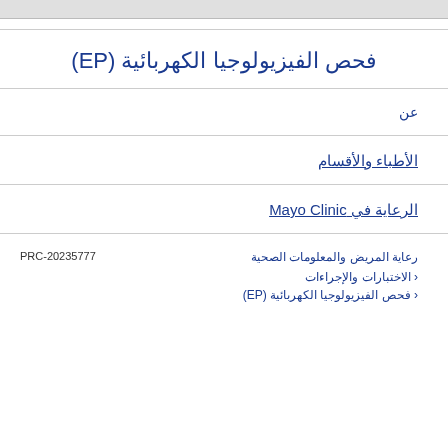فحص الفيزيولوجيا الكهربائية (EP)
عن
الأطباء والأقسام
الرعاية في Mayo Clinic
PRC-20235777
رعاية المريض والمعلومات الصحية
› الاختبارات والإجراءات
› فحص الفيزيولوجيا الكهربائية (EP)